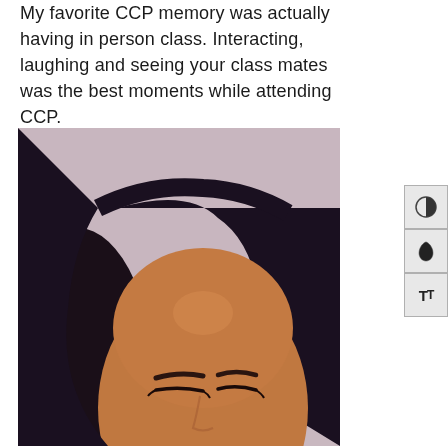My favorite CCP memory was actually having in person class. Interacting, laughing and seeing your class mates was the best moments while attending CCP.
[Figure (photo): A photo of a young woman with long dark hair, eyes closed, against a light purple/mauve background. Only the top portion of her face and head is visible.]